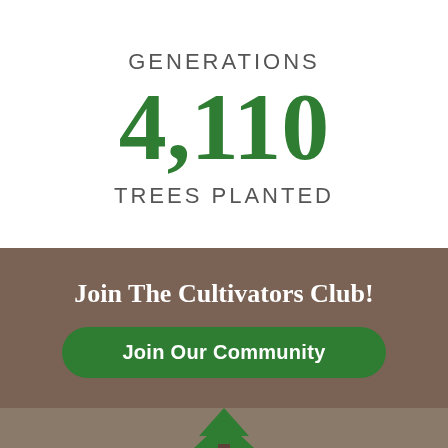GENERATIONS
4,110
TREES PLANTED
Join The Cultivators Club!
Join Our Community
[Figure (illustration): Bottom section with green tree icon on brown/grey background]